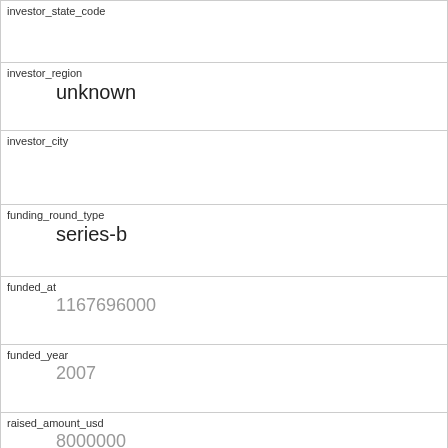| investor_state_code |  |
| investor_region | unknown |
| investor_city |  |
| funding_round_type | series-b |
| funded_at | 1167696000 |
| funded_year | 2007 |
| raised_amount_usd | 8000000 |
| gristHelper_Display2 | /company/mochila |
| Company_category_code | advertising |
| Investor | Greenspun |
|  | https://www.crunchbase.com/company/greenspun |